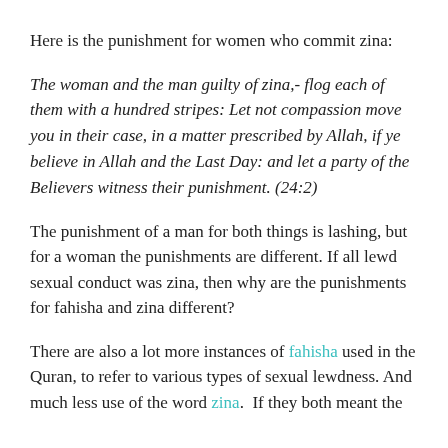Here is the punishment for women who commit zina:
The woman and the man guilty of zina,- flog each of them with a hundred stripes: Let not compassion move you in their case, in a matter prescribed by Allah, if ye believe in Allah and the Last Day: and let a party of the Believers witness their punishment. (24:2)
The punishment of a man for both things is lashing, but for a woman the punishments are different. If all lewd sexual conduct was zina, then why are the punishments for fahisha and zina different?
There are also a lot more instances of fahisha used in the Quran, to refer to various types of sexual lewdness. And much less use of the word zina.  If they both meant the